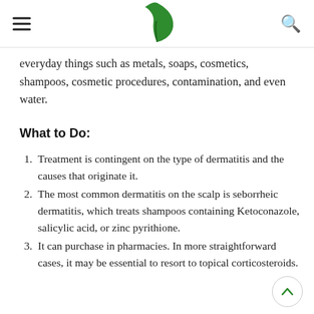[hamburger menu] [leaf logo] [search icon]
everyday things such as metals, soaps, cosmetics, shampoos, cosmetic procedures, contamination, and even water.
What to Do:
Treatment is contingent on the type of dermatitis and the causes that originate it.
The most common dermatitis on the scalp is seborrheic dermatitis, which treats shampoos containing Ketoconazole, salicylic acid, or zinc pyrithione.
It can purchase in pharmacies. In more straightforward cases, it may be essential to resort to topical corticosteroids.